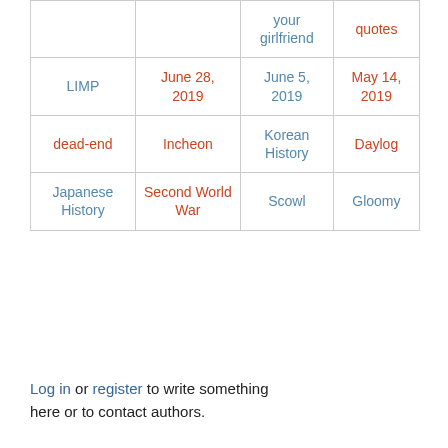|  |  | your girlfriend | quotes |
| LIMP | June 28, 2019 | June 5, 2019 | May 14, 2019 |
| dead-end | Incheon | Korean History | Daylog |
| Japanese History | Second World War | Scowl | Gloomy |
Log in or register to write something here or to contact authors.
Sign in
Recommended Reading
About Everything2
User Picks
Sirius B
Bedroom Full of Rusty Keys
what my heart is whispering at night
root log: August 2022
Perestroika
Mikhail Gorbachev
Editor Picks